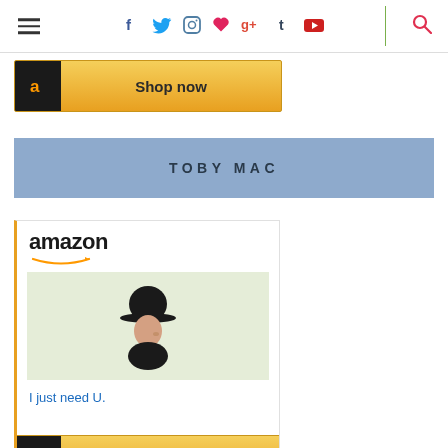Navigation bar with hamburger menu, social icons (Facebook, Twitter, Instagram, Vine, Google+, Tumblr, YouTube), divider, and search icon
[Figure (screenshot): Amazon 'Shop now' button bar with black Amazon 'a' icon and golden yellow background]
TOBY MAC
[Figure (screenshot): Amazon advertisement widget showing Amazon logo with orange arrow, a product image of a person wearing a bowler hat on light green background, text 'I just need U.', and a 'Shop now' button at bottom]